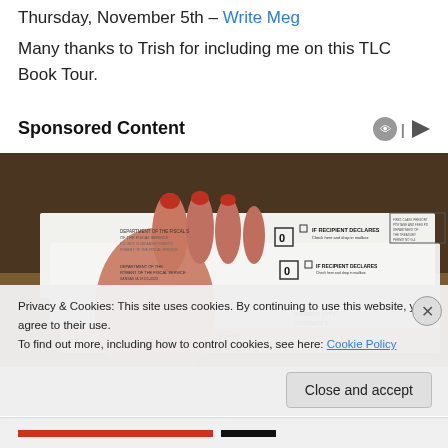Thursday, November 5th – Write Meg
Many thanks to Trish for including me on this TLC Book Tour.
Sponsored Content
[Figure (photo): A hand holding several envelopes from the Department of the Treasury / Fiscal Service, showing IRS-style government mail pieces with Kansas City, MO address visible.]
Privacy & Cookies: This site uses cookies. By continuing to use this website, you agree to their use.
To find out more, including how to control cookies, see here: Cookie Policy
Close and accept